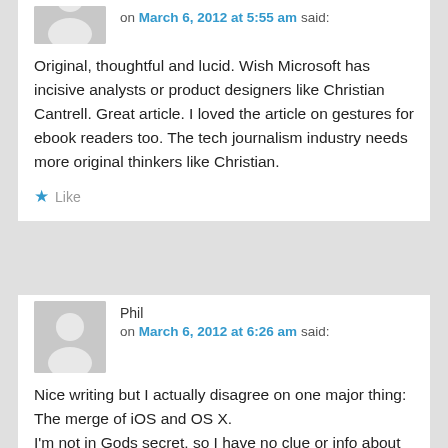on March 6, 2012 at 5:55 am said:
Original, thoughtful and lucid. Wish Microsoft has incisive analysts or product designers like Christian Cantrell. Great article. I loved the article on gestures for ebook readers too. The tech journalism industry needs more original thinkers like Christian.
Like
Phil
on March 6, 2012 at 6:26 am said:
Nice writing but I actually disagree on one major thing: The merge of iOS and OS X. I'm not in Gods secret, so I have no clue or info about Apple future, but from a user point of view, it looks to me very natural for Apple to merge iOS and OS X and a lot of